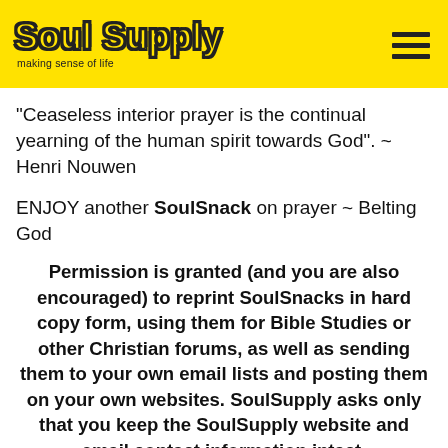Soul Supply - making sense of life
"Ceaseless interior prayer is the continual yearning of the human spirit towards God". ~ Henri Nouwen
ENJOY another SoulSnack on prayer ~ Belting God
Permission is granted (and you are also encouraged) to reprint SoulSnacks in hard copy form, using them for Bible Studies or other Christian forums, as well as sending them to your own email lists and posting them on your own websites. SoulSupply asks only that you keep the SoulSupply website and email contact information intact.
Love this SoulSnack - PLEASE don't keep it to